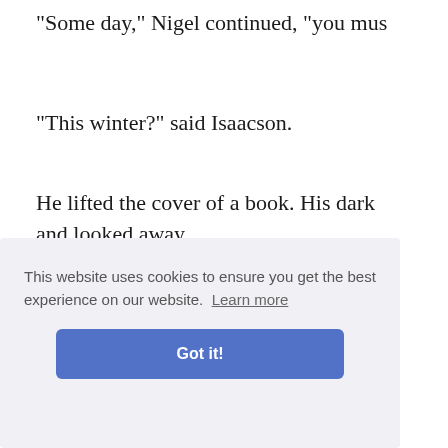"Some day," Nigel continued, "you mus
"This winter?" said Isaacson.
He lifted the cover of a book. His dark
and looked away.
"Not this winter," he added, quietly.
"But—why not this winter?"
Nigel spoke with a slight embarrassmen
much w
al carpet.
"And live under the tent? I met a man
This website uses cookies to ensure you get the best experience on our website. Learn more
Got it!